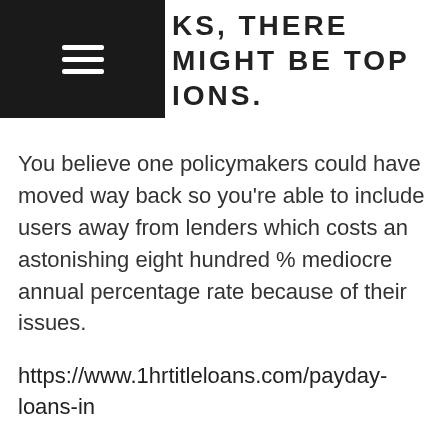KS, THERE MIGHT BE TOP IONS.
You believe one policymakers could have moved way back so you're able to include users away from lenders which costs an astonishing eight hundred % mediocre annual percentage rate because of their issues.
https://www.1hrtitleloans.com/payday-loans-in
But the years-old cash advance organization is just today up against their very first government laws. Past Thursday, the consumer Economic Cover Agency had the ball running along with its long-anticipated recommended laws having small-dollars lending.
«This might be a big help suitable recommendations,»